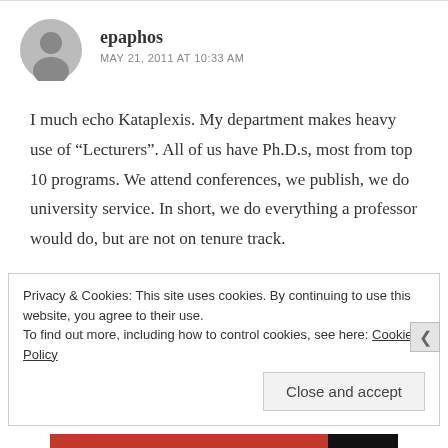[Figure (illustration): Gray default user avatar (circle with person silhouette)]
epaphos
MAY 21, 2011 AT 10:33 AM
I much echo Kataplexis. My department makes heavy use of "Lecturers". All of us have Ph.D.s, most from top 10 programs. We attend conferences, we publish, we do university service. In short, we do everything a professor would do, but are not on tenure track.
Privacy & Cookies: This site uses cookies. By continuing to use this website, you agree to their use.
To find out more, including how to control cookies, see here: Cookie Policy
Close and accept